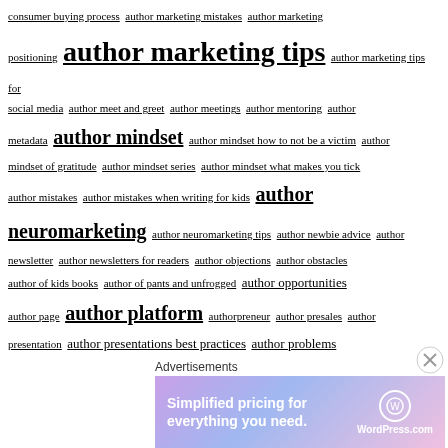consumer buying process author marketing mistakes author marketing positioning author marketing tips author marketing tips for social media author meet and greet author meetings author mentoring author metadata author mindset author mindset how to not be a victim author mindset of gratitude author mindset series author mindset what makes you tick author mistakes author mistakes when writing for kids author neuromarketing author neuromarketing tips author newbie advice author newsletter author newsletters for readers author objections author obstacles author of kids books author of pants and unfrogged author opportunities author page author platform authorpreneur author presales author presentation author presentations best practices author problems author promotion author promotion of books author promotions author promotion tips author proposal author propsal author publicity author publicity tips author questions author reading author red flags author rejections author relationships author responsibility authors author sales tips
Advertisements
[Figure (other): WordPress.com advertisement banner: Simplified pricing for everything you need.]